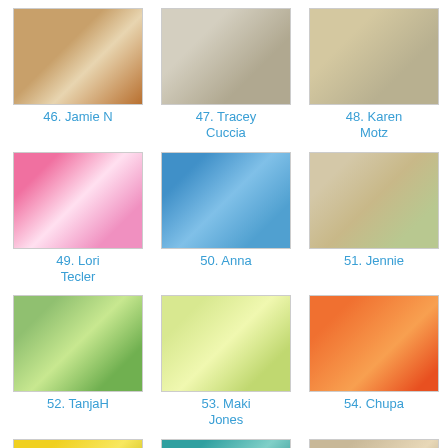[Figure (photo): Card craft thumbnail #46 Jamie N]
46. Jamie N
[Figure (photo): Card craft thumbnail #47 Tracey Cuccia]
47. Tracey Cuccia
[Figure (photo): Card craft thumbnail #48 Karen Motz]
48. Karen Motz
[Figure (photo): Card craft thumbnail #49 Lori Tecler]
49. Lori Tecler
[Figure (photo): Card craft thumbnail #50 Anna]
50. Anna
[Figure (photo): Card craft thumbnail #51 Jennie]
51. Jennie
[Figure (photo): Card craft thumbnail #52 TanjaH]
52. TanjaH
[Figure (photo): Card craft thumbnail #53 Maki Jones]
53. Maki Jones
[Figure (photo): Card craft thumbnail #54 Chupa]
54. Chupa
[Figure (photo): Card craft thumbnail #55 Tami Grandi]
55. Tami Grandi
[Figure (photo): Card craft thumbnail #56 Kari Linder]
56. Kari Linder
[Figure (photo): Card craft thumbnail #57 Shannon Erskine]
57. Shannon Erskine